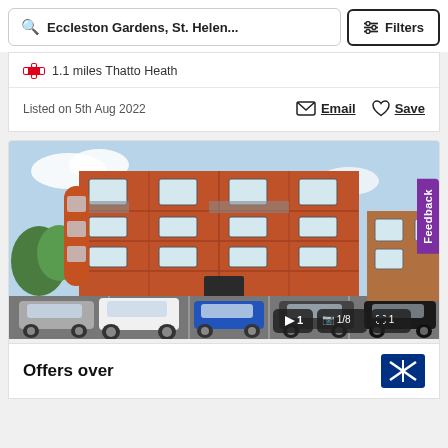Eccleston Gardens, St. Helen...   Filters
1.1 miles Thatto Heath
Listed on 5th Aug 2022
Email   Save
[Figure (photo): Exterior photo of a red brick apartment building with multiple floors, balconies, and a car park in front. Photo counter badges show: 1 video, 1/8 photos, 1 floorplan.]
Offers over